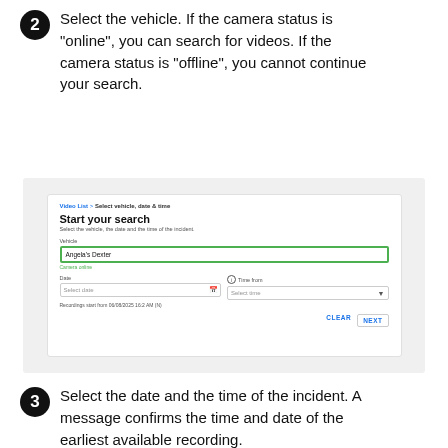2 Select the vehicle. If the camera status is "online", you can search for videos. If the camera status is "offline", you cannot continue your search.
[Figure (screenshot): Screenshot of a 'Start your search' form with vehicle field showing 'Angela's Dexter', camera status online, date and time fields, and CLEAR/NEXT buttons.]
3 Select the date and the time of the incident. A message confirms the time and date of the earliest available recording.